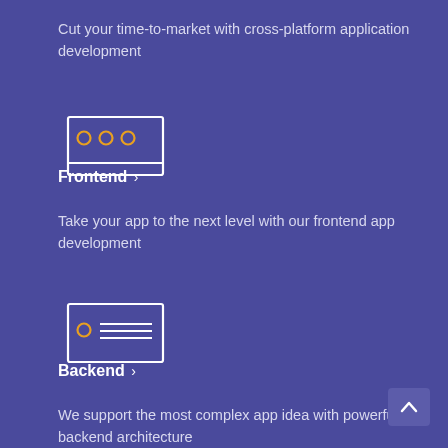Cut your time-to-market with cross-platform application development
[Figure (illustration): Icon of a laptop/browser window with three orange circles representing browser tabs or dots, outlined in white on purple background]
Frontend >
Take your app to the next level with our frontend app development
[Figure (illustration): Icon of a card/document with an orange circle on the left and horizontal lines representing text, outlined in white on purple background]
Backend >
We support the most complex app idea with powerful backend architecture